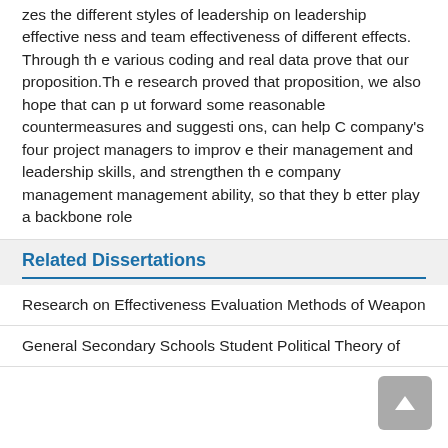zes the different styles of leadership on leadership effectiveness and team effectiveness of different effects. Through the various coding and real data prove that our proposition.The research proved that proposition, we also hope that can put forward some reasonable countermeasures and suggestions, can help C company's four project managers to improve their management and leadership skills, and strengthen the company management management ability, so that they better play a backbone role
Related Dissertations
Research on Effectiveness Evaluation Methods of Weapon
General Secondary Schools Student Political Theory of